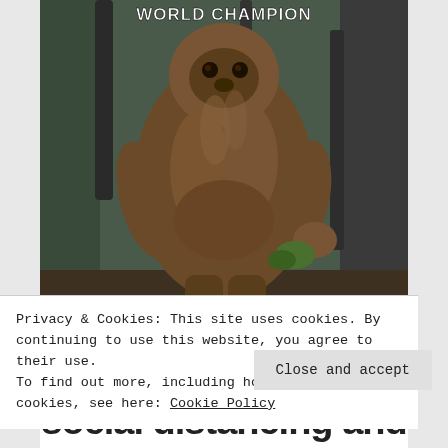[Figure (photo): A large bigfoot/sasquatch creature covered in brown fur standing in a forested area with trees in the background. White text overlay at top reads 'WORLD CHAMPION'. This appears to be from a meme or humorous web page.]
Privacy & Cookies: This site uses cookies. By continuing to use this website, you agree to their use.
To find out more, including how to control cookies, see here: Cookie Policy
Close and accept
social distancing and